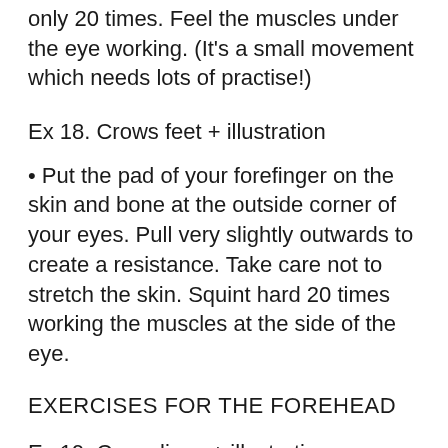only 20 times. Feel the muscles under the eye working. (It's a small movement which needs lots of practise!)
Ex 18. Crows feet + illustration
• Put the pad of your forefinger on the skin and bone at the outside corner of your eyes. Pull very slightly outwards to create a resistance. Take care not to stretch the skin. Squint hard 20 times working the muscles at the side of the eye.
EXERCISES FOR THE FOREHEAD
Ex 19. Cross lines + illustration
• Now place the pad of the forefingers on the inner corner of each eyebrow. Press the skin and